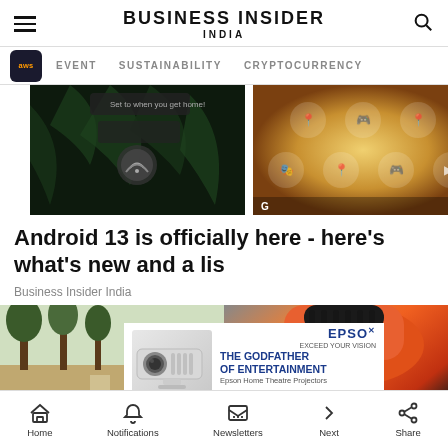BUSINESS INSIDER INDIA
EVENT   SUSTAINABILITY   CRYPTOCURRENCY
[Figure (screenshot): Two smartphone screenshots showing Android 13 interface - left shows dark screen with palm leaves and circular icon, right shows golden/warm-toned home screen with app icons]
Android 13 is officially here - here's what's new and a lis
Business Insider India
[Figure (photo): Bottom content area showing outdoor scene on left and orange power tool on right, with Epson projector advertisement overlay reading THE GODFATHER OF ENTERTAINMENT - Epson Home Theatre Projectors]
Home   Notifications   Newsletters   Next   Share